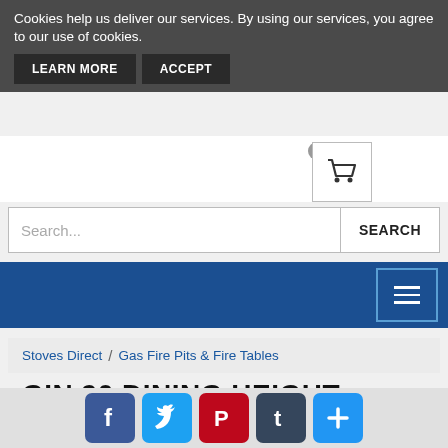Cookies help us deliver our services. By using our services, you agree to our use of cookies.
LEARN MORE   ACCEPT
[Figure (screenshot): Shopping cart icon in a white box with a round button above it]
Search...   SEARCH
[Figure (screenshot): Blue navigation bar with hamburger menu icon on the right]
Stoves Direct / Gas Fire Pits & Fire Tables
GIN 90 DINING HEIGHT TEAK FIRE TABLE
[Figure (screenshot): Social share bar with Facebook, Twitter, Pinterest, Tumblr, and plus buttons]